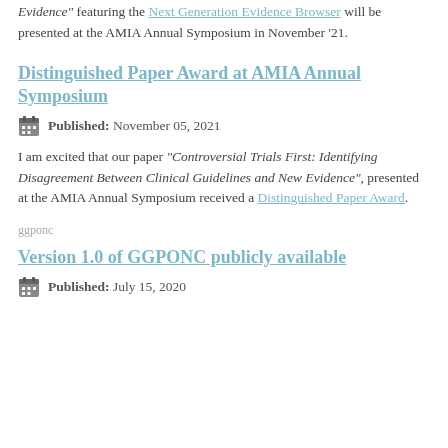Evidence" featuring the Next Generation Evidence Browser will be presented at the AMIA Annual Symposium in November '21.
Distinguished Paper Award at AMIA Annual Symposium
Published: November 05, 2021
I am excited that our paper "Controversial Trials First: Identifying Disagreement Between Clinical Guidelines and New Evidence", presented at the AMIA Annual Symposium received a Distinguished Paper Award.
ggponc
Version 1.0 of GGPONC publicly available
Published: July 15, 2020